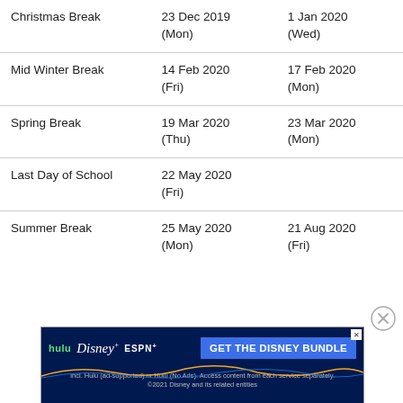|  | Start | End |
| --- | --- | --- |
| Christmas Break | 23 Dec 2019 (Mon) | 1 Jan 2020 (Wed) |
| Mid Winter Break | 14 Feb 2020 (Fri) | 17 Feb 2020 (Mon) |
| Spring Break | 19 Mar 2020 (Thu) | 23 Mar 2020 (Mon) |
| Last Day of School | 22 May 2020 (Fri) |  |
| Summer Break | 25 May 2020 (Mon) | 21 Aug 2020 (Fri) |
[Figure (other): Disney Bundle advertisement banner: hulu, Disney+, ESPN+, GET THE DISNEY BUNDLE. Incl. Hulu (ad-supported) or Hulu (No Ads). Access content from each service separately. ©2021 Disney and its related entities]